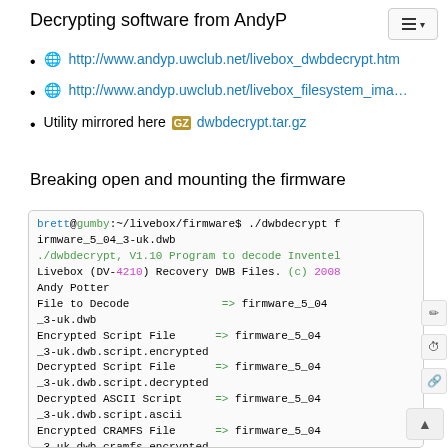Decrypting software from AndyP
http://www.andyp.uwclub.net/livebox_dwbdecrypt.htm
http://www.andyp.uwclub.net/livebox_filesystem_ima…
Utility mirrored here [gz] dwbdecrypt.tar.gz
Breaking open and mounting the firmware
[Figure (screenshot): Terminal code box showing dwbdecrypt command output with file listings for firmware_5_04_3-uk.dwb decryption including encrypted/decrypted script files, ASCII script, and CRAMFS files]